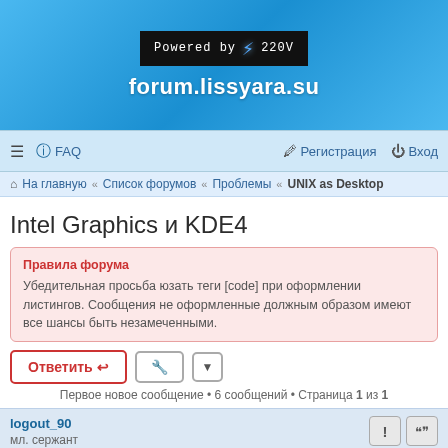[Figure (logo): Forum header with blue gradient background, 'Powered by 220V' badge with lightning bolt icon, and forum domain name 'forum.lissyara.su' in white bold text]
≡  FAQ    Регистрация   Вход
На главную « Список форумов « Проблемы « UNIX as Desktop
Intel Graphics и KDE4
Правила форума
Убедительная просьба юзать теги [code] при оформлении листингов. Сообщения не оформленные должным образом имеют все шансы быть незамеченными.
Первое новое сообщение • 6 сообщений • Страница 1 из 1
logout_90
мл. сержант
Intel Graphics и KDE4
2015-05-17 0:35:59